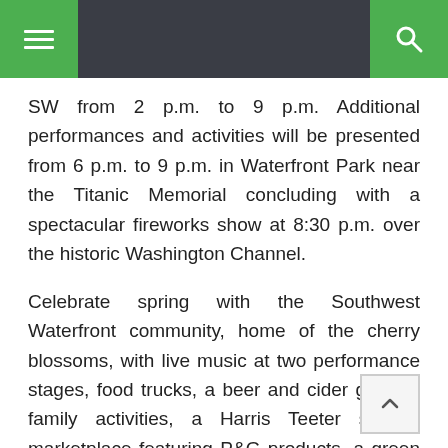Navigation bar with menu and search buttons
SW from 2 p.m. to 9 p.m. Additional performances and activities will be presented from 6 p.m. to 9 p.m. in Waterfront Park near the Titanic Memorial concluding with a spectacular fireworks show at 8:30 p.m. over the historic Washington Channel.
Celebrate spring with the Southwest Waterfront community, home of the cherry blossoms, with live music at two performance stages, food trucks, a beer and cider garden, family activities, a Harris Teeter sample marketplace featuring P&G products, a green screen photo experience, cornhole, glow-in-the-dark treats, and more. In the event of inclement weather, the fireworks portion of the evening will be rescheduled for Sunday, April 16 at 8:30 p.m.
Southwest Waterfront is easily accessible by Metrobus and